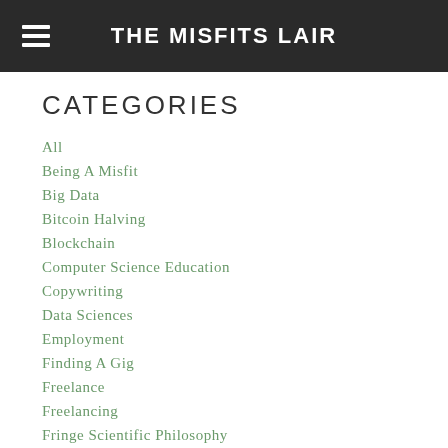THE MISFITS LAIR
CATEGORIES
All
Being A Misfit
Big Data
Bitcoin Halving
Blockchain
Computer Science Education
Copywriting
Data Sciences
Employment
Finding A Gig
Freelance
Freelancing
Fringe Scientific Philosophy
GEMBAH
Hosting Clues
Infographics
Internet Statistics & Facts